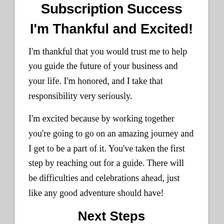Subscription Success
I'm Thankful and Excited!
I'm thankful that you would trust me to help you guide the future of your business and your life. I'm honored, and I take that responsibility very seriously.
I'm excited because by working together you're going to go on an amazing journey and I get to be a part of it. You've taken the first step by reaching out for a guide. There will be difficulties and celebrations ahead, just like any good adventure should have!
Next Steps